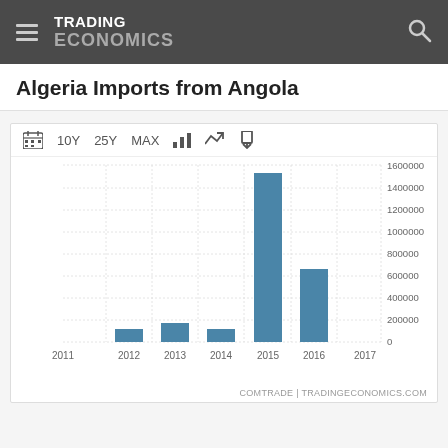TRADING ECONOMICS
Algeria Imports from Angola
[Figure (bar-chart): Algeria Imports from Angola]
COMTRADE | TRADINGECONOMICS.COM